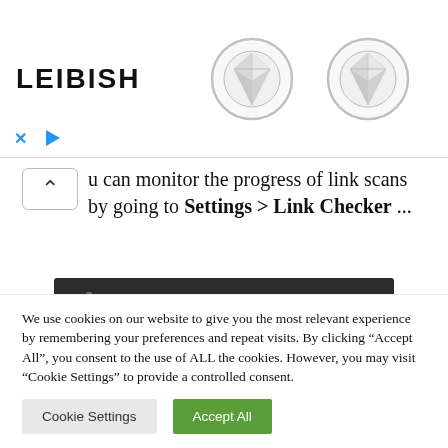[Figure (screenshot): Advertisement banner for LEIBISH jewelry brand showing the brand name logo on the left and two diamond stud earrings on the right, with close/play controls at the bottom left]
u can monitor the progress of link scans by going to Settings > Link Checker ...
[Figure (screenshot): WordPress admin sidebar menu screenshot showing Appearance and Plugins menu items on the left, and General, Writing, Reading submenu items on the right, on a dark background]
We use cookies on our website to give you the most relevant experience by remembering your preferences and repeat visits. By clicking "Accept All", you consent to the use of ALL the cookies. However, you may visit "Cookie Settings" to provide a controlled consent.
[Figure (screenshot): Cookie consent dialog with Cookie Settings and Accept All buttons]